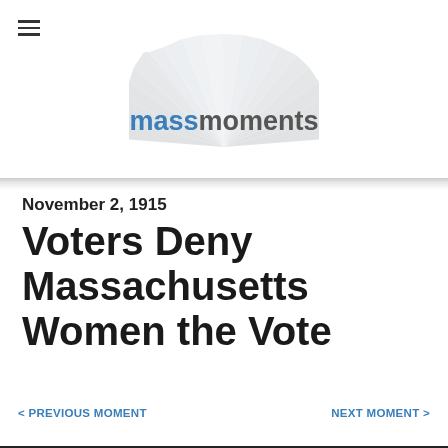massmoments
November 2, 1915
Voters Deny Massachusetts Women the Vote
< PREVIOUS MOMENT
NEXT MOMENT >